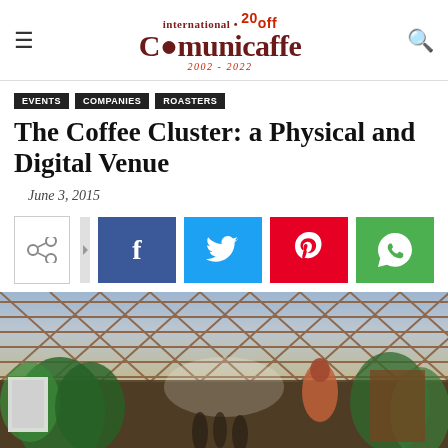international Comunicaffe 20 2002-2022
EVENTS
COMPANIES
ROASTERS
The Coffee Cluster: a Physical and Digital Venue
June 3, 2015
[Figure (photo): Interior architectural rendering of the Coffee Cluster venue, showing a latticed glass and wood ceiling structure with greenery and people walking inside]
[Figure (screenshot): Social share buttons: share icon, Facebook, Twitter, Pinterest, WhatsApp]